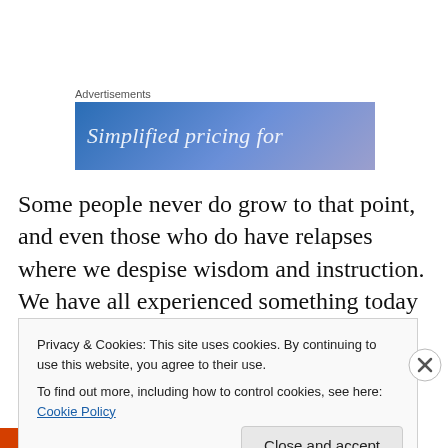[Figure (other): Advertisement banner with blue-to-purple gradient background and white italic text reading 'Simplified pricing fo...']
Some people never do grow to that point, and even those who do have relapses where we despise wisdom and instruction. We have all experienced something today where we thought that we could do it better than the person who was doing it. Perhaps some of us even said it out loud.
Privacy & Cookies: This site uses cookies. By continuing to use this website, you agree to their use.
To find out more, including how to control cookies, see here: Cookie Policy
Close and accept